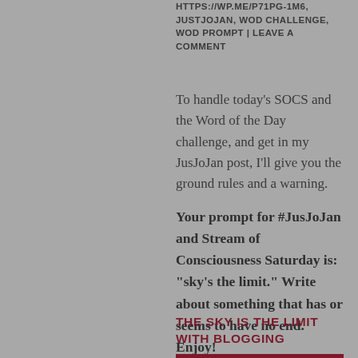HTTPS://WP.ME/P71PG-1M6, JUSTJOJAN, WOD CHALLENGE, WOD PROMPT | LEAVE A COMMENT
To handle today’s SOCS and the Word of the Day challenge, and get in my JusJoJan post, I’ll give you the ground rules and a warning.
Your prompt for #JusJoJan and Stream of Consciousness Saturday is: “sky’s the limit.” Write about something that has or seems to have no end. Enjoy!
THE SKY IS THE LIMIT WITH BLOGGING